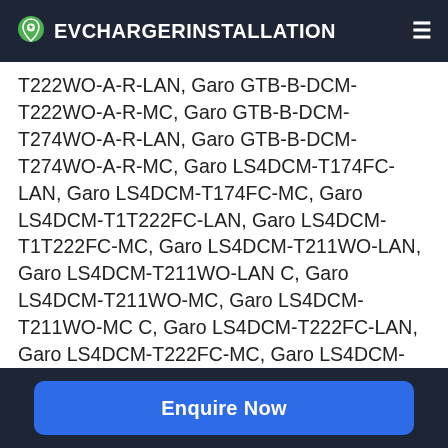EVCHARGERINSTALLATION
T222WO-A-R-LAN, Garo GTB-B-DCM-T222WO-A-R-MC, Garo GTB-B-DCM-T274WO-A-R-LAN, Garo GTB-B-DCM-T274WO-A-R-MC, Garo LS4DCM-T174FC-LAN, Garo LS4DCM-T174FC-MC, Garo LS4DCM-T1T222FC-LAN, Garo LS4DCM-T1T222FC-MC, Garo LS4DCM-T211WO-LAN, Garo LS4DCM-T211WO-LAN C, Garo LS4DCM-T211WO-MC, Garo LS4DCM-T211WO-MC C, Garo LS4DCM-T222FC-LAN, Garo LS4DCM-T222FC-MC, Garo LS4DCM-T222WO-LAN, Garo LS4DCM-T222WO-LAN C, Garo LS4DCM-T222WO-MC C, Garo LS4DCM-T222WO-MC C, Garo LS4DCM-T237WO-LAN, Garo LS4DCM-
Enquire Now